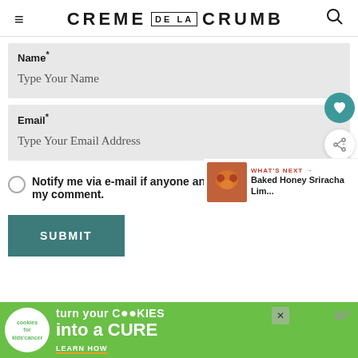CREME DE LA CRUMB
Name*
Type Your Name
Email*
Type Your Email Address
Notify me via e-mail if anyone answers my comment.
SUBMIT
WHAT'S NEXT → Baked Honey Sriracha Lim...
[Figure (screenshot): Advertisement banner: cookies for kids cancer - turn your COOKIES into a CURE LEARN HOW]